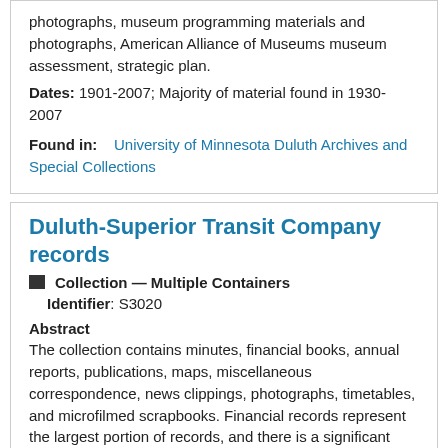photographs, museum programming materials and photographs, American Alliance of Museums museum assessment, strategic plan.
Dates: 1901-2007; Majority of material found in 1930-2007
Found in:    University of Minnesota Duluth Archives and Special Collections
Duluth-Superior Transit Company records
Collection – Multiple Containers
Identifier: S3020
Abstract
The collection contains minutes, financial books, annual reports, publications, maps, miscellaneous correspondence, news clippings, photographs, timetables, and microfilmed scrapbooks. Financial records represent the largest portion of records, and there is a significant lack of executive records.